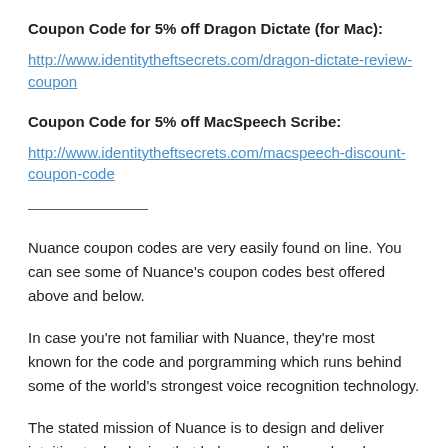Coupon Code for 5% off Dragon Dictate (for Mac):
http://www.identitytheftsecrets.com/dragon-dictate-review-coupon
Coupon Code for 5% off MacSpeech Scribe:
http://www.identitytheftsecrets.com/macspeech-discount-coupon-code
Nuance coupon codes are very easily found on line. You can see some of Nuance’s coupon codes best offered above and below.
In case you’re not familiar with Nuance, they’re most known for the code and porgramming which runs behind some of the world’s strongest voice recognition technology.
The stated mission of Nuance is to design and deliver intuitive technologies that help people live and work more intelligently.
What this means is that Nuance is really working with some of the most